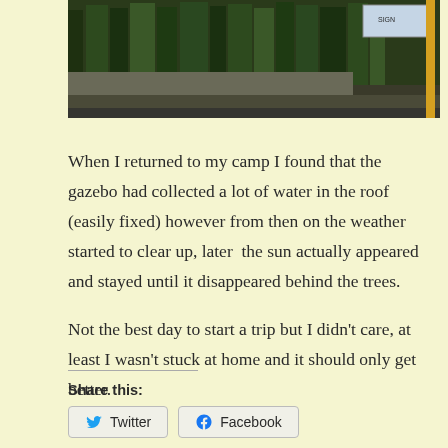[Figure (photo): Partial view of a building exterior with trees and a road, showing a yellow pole on the right side and a sign]
When I returned to my camp I found that the gazebo had collected a lot of water in the roof (easily fixed) however from then on the weather started to clear up, later  the sun actually appeared and stayed until it disappeared behind the trees.
Not the best day to start a trip but I didn't care, at least I wasn't stuck at home and it should only get better.
Share this:
Twitter  Facebook